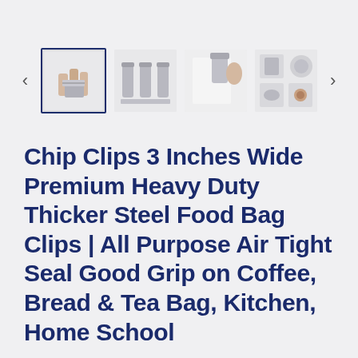[Figure (screenshot): Product image thumbnail carousel showing 4 thumbnail images of chip clips with left and right navigation arrows. First thumbnail is selected with a dark blue border.]
Chip Clips 3 Inches Wide Premium Heavy Duty Thicker Steel Food Bag Clips | All Purpose Air Tight Seal Good Grip on Coffee, Bread & Tea Bag, Kitchen, Home School